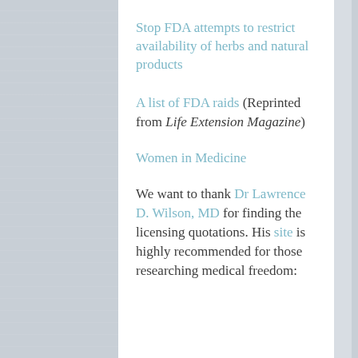Stop FDA attempts to restrict availability of herbs and natural products
A list of FDA raids (Reprinted from Life Extension Magazine)
Women in Medicine
We want to thank Dr Lawrence D. Wilson, MD for finding the licensing quotations. His site is highly recommended for those researching medical freedom: